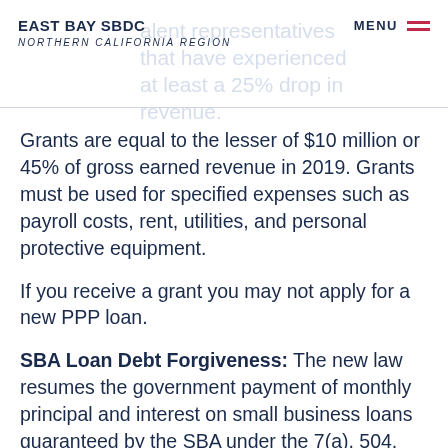EAST BAY SBDC NORTHERN CALIFORNIA REGION
Grants are equal to the lesser of $10 million or 45% of gross earned revenue in 2019. Grants must be used for specified expenses such as payroll costs, rent, utilities, and personal protective equipment.
If you receive a grant you may not apply for a new PPP loan.
SBA Loan Debt Forgiveness: The new law resumes the government payment of monthly principal and interest on small business loans guaranteed by the SBA under the 7(a), 504, and Microloan